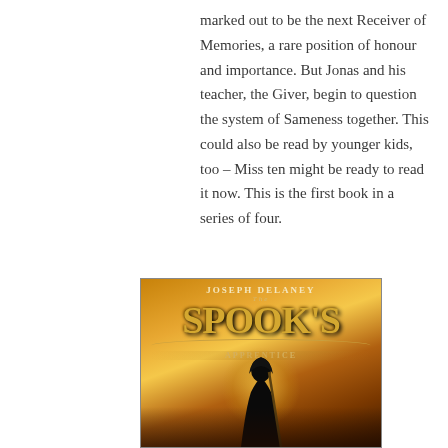marked out to be the next Receiver of Memories, a rare position of honour and importance. But Jonas and his teacher, the Giver, begin to question the system of Sameness together. This could also be read by younger kids, too – Miss ten might be ready to read it now. This is the first book in a series of four.
[Figure (illustration): Book cover of 'The Spook's Apprentice' by Joseph Delaney, featuring a dark hooded figure silhouette against a glowing amber/orange background with large stylized golden title text.]